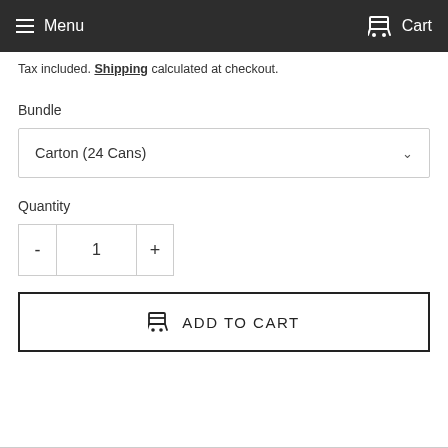Menu   Cart
Tax included. Shipping calculated at checkout.
Bundle
Carton (24 Cans)
Quantity
-  1  +
ADD TO CART